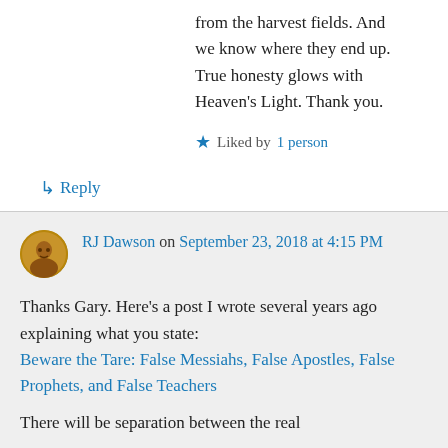from the harvest fields. And we know where they end up. True honesty glows with Heaven's Light. Thank you.
★ Liked by 1 person
↳ Reply
RJ Dawson on September 23, 2018 at 4:15 PM
Thanks Gary. Here's a post I wrote several years ago explaining what you state: Beware the Tare: False Messiahs, False Apostles, False Prophets, and False Teachers
There will be separation between the real